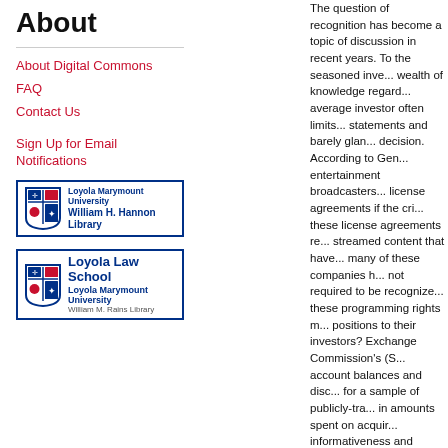About
About Digital Commons
FAQ
Contact Us
Sign Up for Email Notifications
[Figure (logo): Loyola Marymount University William H. Hannon Library shield logo with blue border]
[Figure (logo): Loyola Law School Loyola Marymount University William M. Rains Library shield logo with blue border]
The question of recognition has become a topic of discussion in recent years. To the seasoned investor, a wealth of knowledge regarding the average investor often limits financial statements and barely glances before a decision. According to General Counsel, entertainment broadcasters recognize license agreements if the criteria of these license agreements regarding streamed content that have. However, many of these companies have been not required to be recognized because these programming rights may disclose positions to their investors? The Securities Exchange Commission's (SEC) has examined account balances and disclosures made for a sample of publicly-traded resulting in amounts spent on acquiring content, informativeness and adequacy of My findings regarding the manner in which these disclosures should help and should be formally recognized.
Recommended Citation
Walker, Jeffrey; Rothblatt, C...